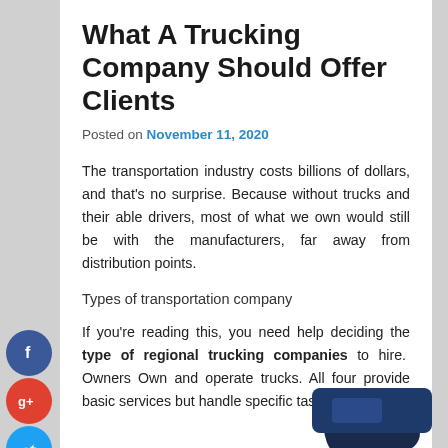What A Trucking Company Should Offer Clients
Posted on November 11, 2020
The transportation industry costs billions of dollars, and that's no surprise. Because without trucks and their able drivers, most of what we own would still be with the manufacturers, far away from distribution points.
Types of transportation company
If you're reading this, you need help deciding the type of regional trucking companies to hire.  Owners Own and operate trucks. All four provide basic services but handle specific tasks.
[Figure (illustration): Partial view of a dark blue truck at the bottom of the page]